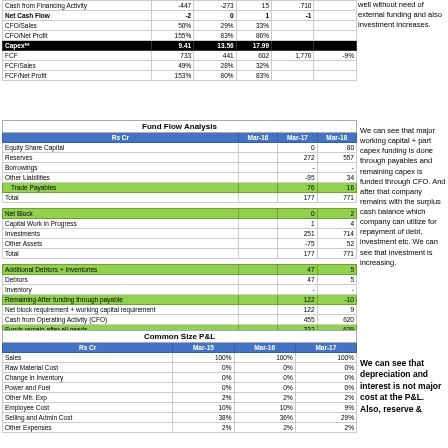| Rs Cr | Mar-15 | Mar-16 | Mar-17 | Mar-18 |  |
| --- | --- | --- | --- | --- | --- |
| Cash from Financing Activity | -447 | -273 | 15 | .710 |  |
| Net Cash Flow | -2 | 0 | 1 | -1 |  |
| CFO/Sales | 50% | 29% | 33% |  |  |
| CFO/Net Profit | 155% | 83% | 86% |  |  |
| Capex** | 9.41 | 13.56 | 17.99 |  |  |
| FCF | 733 | 441 | 602 | 1,776 | -9% |
| FCF/Sales | 49% | 28% | 32% |  |  |
| FCF/Net Profit | 153% | 80% | 83% |  |  |
well without need of external funding and also investment increases.
| Fund Flow Analysis |  |  |  |
| --- | --- | --- | --- |
| Rs Cr | Mar-16 | Mar-17 | Mar-18 |
| Equity Share Capital |  | 0 | 80 |
| Reserves |  | 272 | 557 |
| Borrowings |  | - | - |
| Other Liabilities |  | -95 | 34 |
| Trade Payables |  | 76 | 16 |
| Total |  | 177 | 771 |
|  |  |  |  |
| Net Block |  | 0 | 2 |
| Capital Work in Progress |  | 1 | 4 |
| Investments |  | 251 | 714 |
| Other Assets |  | -75 | 52 |
| Total |  | 177 | 771 |
|  |  |  |  |
| Additional Debtors + Inventories |  | 47 | 5 |
| Debtors |  | 47 | 5 |
| Inventory |  | - | - |
| Remaining After funding through payable |  | 122 | -10 |
| Net block requirement + working capital requirement |  | 122 | 9 |
| Cash from Operating Activity (CFO) |  | 455 | 620 |
| Funds remain after all needs |  | 332 | 629 |
We can see that major working capital + part capex funding is done through payables and remaining capex is funded through CFO. And after that company remains with the surplus cash balance which company can utilize for repayment of debt, investment etc. We can see that investment is increasing.
| Common Size P&L |  |  |  |
| --- | --- | --- | --- |
| Rs Cr | Mar-15 | Mar-16 | Mar-17 |
| Sales | 100% | 100% | 100% |
| Raw Material Cost | 0% | 0% | 0% |
| Change in Inventory | 0% | 0% | 0% |
| Power and Fuel | 0% | 0% | 0% |
| Other Mfr. Exp | 2% | 2% | 2% |
| Employee Cost | 10% | 10% | 9% |
| Selling and Admin Cost | 38% | 36% | 29% |
| Other Expenses | 2% | 2% | 2% |
We can see that depreciation and interest is not major cost at the P&L. Also, reserve &